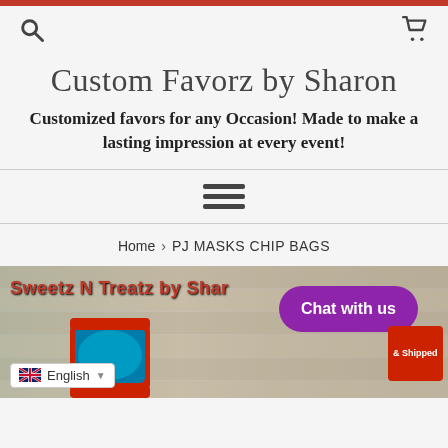Top red bar
[Figure (screenshot): Search icon (magnifying glass) on the left and shopping cart icon on the right in a navigation header area]
Custom Favorz by Sharon
Customized favors for any Occasion!  Made to make a lasting impression at every event!
[Figure (other): Hamburger menu icon (three horizontal lines)]
Home › PJ MASKS CHIP BAGS
[Figure (photo): Product photo showing 'Sweetz N Treatz by Sha...' text in red, a chip bag with blue and teal design, a purple chat bubble saying 'Chat with us', a red sale tag, and an English language selector dropdown at the bottom left. Background is a wooden fence.]